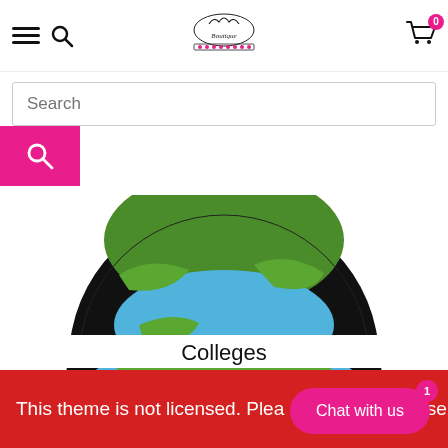Boutique store navigation bar with hamburger menu, search icon, logo, and cart icon with badge 0
Search
[Figure (illustration): Bottom half of a globe illustration with green landmasses and blue ocean on black border, partially cropped (upper portion visible)]
Colleges
[Figure (illustration): Globe illustration with text 'Inspire...' at top, 'eam...' on left, 'Achie...' on right, with green and blue earth graphic]
This theme is not licensed. Plea... se
Chat with us